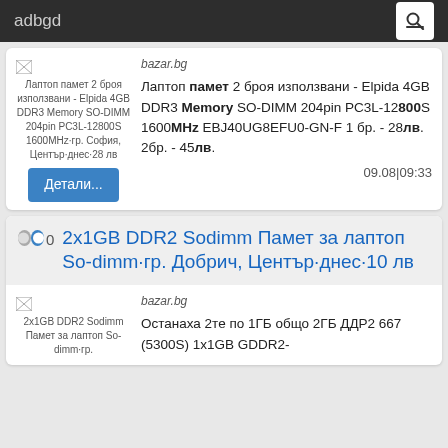adbgd
Лаптоп памет 2 броя използвани - Elpida 4GB DDR3 Memory SO-DIMM 204pin PC3L-12800S 1600МHz·гр. София, Център·днес·28 лв
bazar.bg
Лаптоп памет 2 броя използвани - Elpida 4GB DDR3 Memory SO-DIMM 204pin PC3L-12800S 1600MHz EBJ40UG8EFU0-GN-F 1 бр. - 28лв. 2бр. - 45лв.
09.08|09:33
2x1GB DDR2 Sodimm Памет за лаптоп So-dimm·гр. Добрич, Център·днес·10 лв
2x1GB DDR2 Sodimm Памет за лаптоп So-dimm·гр.
bazar.bg
Останаха 2те по 1ГБ общо 2ГБ ДДР2 667 (5300S) 1x1GB GDDR2-